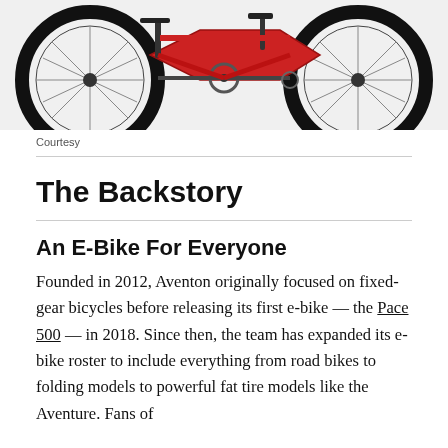[Figure (photo): Partial view of a red and black e-bike (fat tire bicycle) showing two large wheels, handlebars, and frame on a light gray background.]
Courtesy
The Backstory
An E-Bike For Everyone
Founded in 2012, Aventon originally focused on fixed-gear bicycles before releasing its first e-bike — the Pace 500 — in 2018. Since then, the team has expanded its e-bike roster to include everything from road bikes to folding models to powerful fat tire models like the Aventure. Fans of